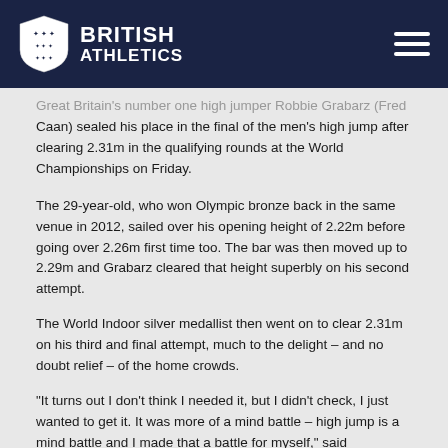British Athletics
Great Britain's number one high jumper Robbie Grabarz (Fred Caan) sealed his place in the final of the men's high jump after clearing 2.31m in the qualifying rounds at the World Championships on Friday.
The 29-year-old, who won Olympic bronze back in the same venue in 2012, sailed over his opening height of 2.22m before going over 2.26m first time too. The bar was then moved up to 2.29m and Grabarz cleared that height superbly on his second attempt.
The World Indoor silver medallist then went on to clear 2.31m on his third and final attempt, much to the delight – and no doubt relief – of the home crowds.
“It turns out I don’t think I needed it, but I didn’t check, I just wanted to get it. It was more of a mind battle – high jump is a mind battle and I made that a battle for myself,” said